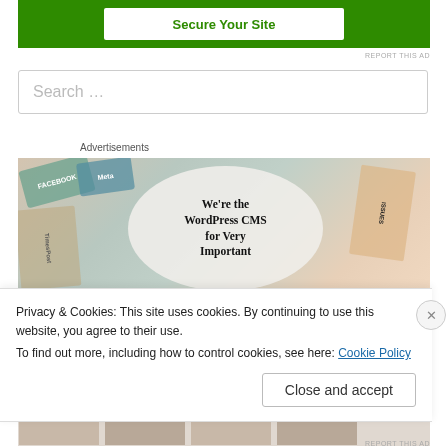[Figure (screenshot): Green ad banner with white button showing 'Secure Your Site']
REPORT THIS AD
[Figure (screenshot): Search box with placeholder text 'Search ...']
Advertisements
[Figure (screenshot): WordPress CMS advertisement image showing 'We're the WordPress CMS for Very Important' text on a circular overlay with social media brand tiles in background]
Privacy & Cookies: This site uses cookies. By continuing to use this website, you agree to their use.
To find out more, including how to control cookies, see here: Cookie Policy
Close and accept